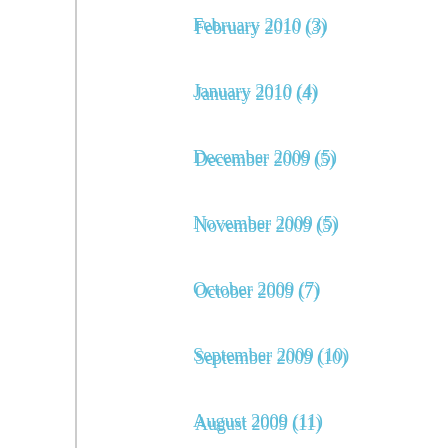February 2010 (3)
January 2010 (4)
December 2009 (5)
November 2009 (5)
October 2009 (7)
September 2009 (10)
August 2009 (11)
July 2009 (6)
April 2009 (1)
March 2009 (1)
February 2009 (1)
January 2009 (5)
December 2008 (2)
November 2008 (3)
October 2008 (5)
September 2008 (6)